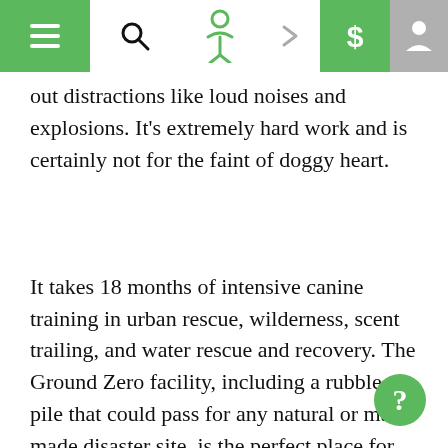Navigation bar with menu, search, logo, arrow, dollar sign, and user icons
out distractions like loud noises and explosions. It's extremely hard work and is certainly not for the faint of doggy heart.
It takes 18 months of intensive canine training in urban rescue, wilderness, scent trailing, and water rescue and recovery. The Ground Zero facility, including a rubble pile that could pass for any natural or man-made disaster site, is the perfect place for training these unique dogs. “Disco balls, loud music, flash lights, kittens, and fog machines,” Terri Jungels, executive director of Ground Zero listed some of the tools they use to test against distractions. “We need to find the hiccups because if we’re searching for a little girl in a pile of rubble, every second counts and we can’t get distracted.”